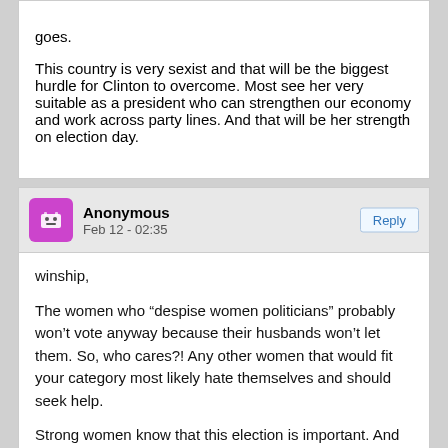goes.

This country is very sexist and that will be the biggest hurdle for Clinton to overcome. Most see her very suitable as a president who can strengthen our economy and work across party lines. And that will be her strength on election day.
Anonymous
Feb 12 - 02:35
winship,

The women who “despise women politicians” probably won’t vote anyway because their husbands won’t let them. So, who cares?! Any other women that would fit your category most likely hate themselves and should seek help.

Strong women know that this election is important. And to make it petty is belittling the women in your life.
Larry Gilbert
Feb 12 - 14:58
anon 6:25 p.m.